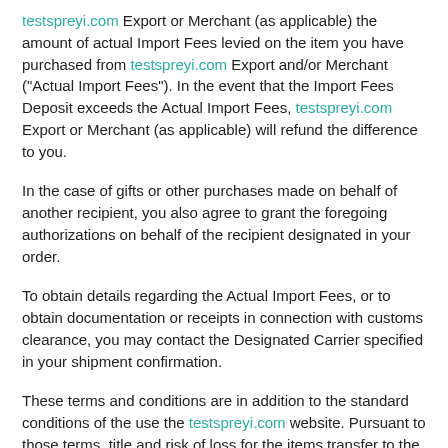testspreyi.com Export or Merchant (as applicable) the amount of actual Import Fees levied on the item you have purchased from testspreyi.com Export and/or Merchant ("Actual Import Fees"). In the event that the Import Fees Deposit exceeds the Actual Import Fees, testspreyi.com Export or Merchant (as applicable) will refund the difference to you.
In the case of gifts or other purchases made on behalf of another recipient, you also agree to grant the foregoing authorizations on behalf of the recipient designated in your order.
To obtain details regarding the Actual Import Fees, or to obtain documentation or receipts in connection with customs clearance, you may contact the Designated Carrier specified in your shipment confirmation.
These terms and conditions are in addition to the standard conditions of the use the testspreyi.com website. Pursuant to those terms, title and risk of loss for the items transfer to the recipient upon delivery to the common carrier in the Turkey
Please note that Merchants participating in the International Direct program may have policies that differ from testspreyi.com Export's terms and conditions. For items you have purchased from a Merchant, please see the applicable Merchant's policies for any other terms and conditions that may apply to your purchase of such items.